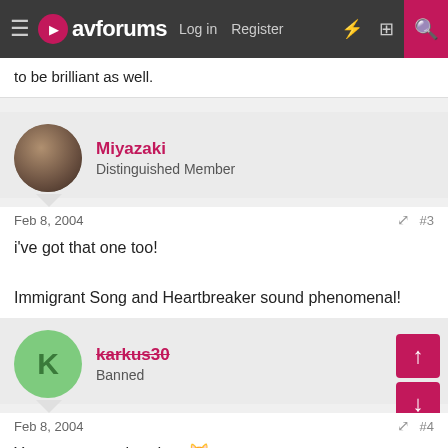avforums — Log in | Register
to be brilliant as well.
Miyazaki
Distinguished Member
Feb 8, 2004  #3
i've got that one too!

Immigrant Song and Heartbreaker sound phenomenal!
karkus30
Banned
Feb 8, 2004  #4
Your one step ahead.....